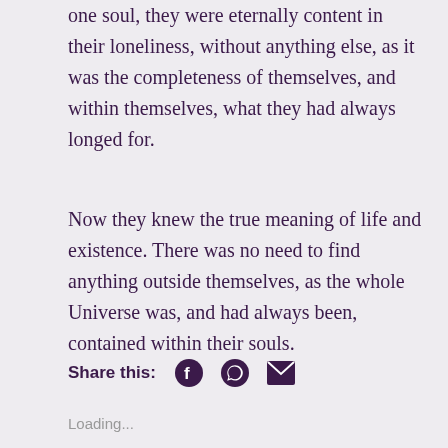one soul, they were eternally content in their loneliness, without anything else, as it was the completeness of themselves, and within themselves, what they had always longed for.
Now they knew the true meaning of life and existence. There was no need to find anything outside themselves, as the whole Universe was, and had always been, contained within their souls.
Share this:
Loading...